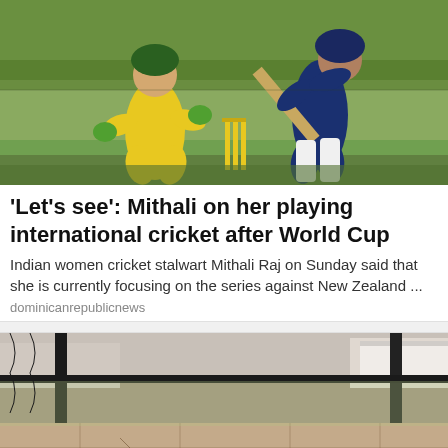[Figure (photo): Cricket match photo showing an Australian player in yellow uniform as wicket keeper, and an Indian woman batsman in dark blue uniform swinging the bat, with cricket stumps visible in the background]
'Let's see': Mithali on her playing international cricket after World Cup
Indian women cricket stalwart Mithali Raj on Sunday said that she is currently focusing on the series against New Zealand ...
dominicanrepublicnews
[Figure (photo): Outdoor photo of a crumbling stone/brick wall structure with metal poles/railings, appearing to be deteriorating infrastructure on a street or public area]